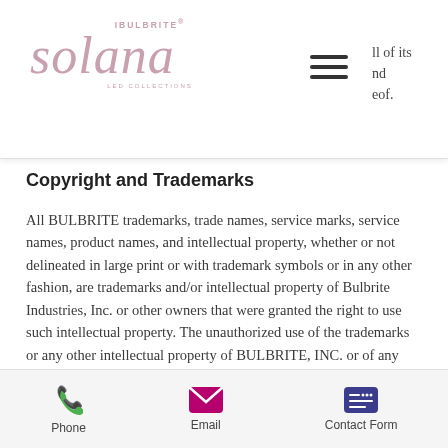BULBRITE solana [logo] [hamburger menu] ll of its nd eof.
Copyright and Trademarks
All BULBRITE trademarks, trade names, service marks, service names, product names, and intellectual property, whether or not delineated in large print or with trademark symbols or in any other fashion, are trademarks and/or intellectual property of Bulbrite Industries, Inc. or other owners that were granted the right to use such intellectual property. The unauthorized use of the trademarks or any other intellectual property of BULBRITE, INC. or of any affiliated companies is expressly prohibited.
Phone   Email   Contact Form